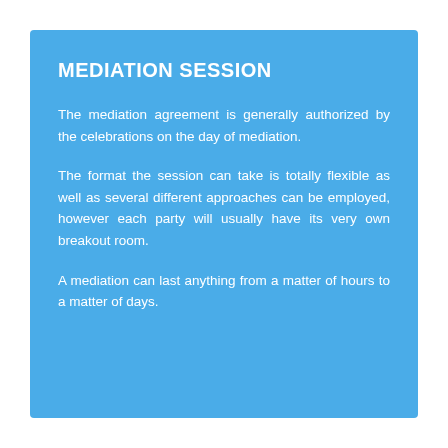MEDIATION SESSION
The mediation agreement is generally authorized by the celebrations on the day of mediation.
The format the session can take is totally flexible as well as several different approaches can be employed, however each party will usually have its very own breakout room.
A mediation can last anything from a matter of hours to a matter of days.